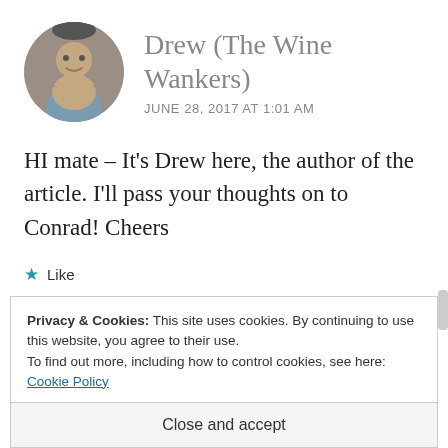Drew (The Wine Wankers)
JUNE 28, 2017 AT 1:01 AM
HI mate – It's Drew here, the author of the article. I'll pass your thoughts on to Conrad! Cheers
★ Like
Privacy & Cookies: This site uses cookies. By continuing to use this website, you agree to their use. To find out more, including how to control cookies, see here: Cookie Policy
Close and accept